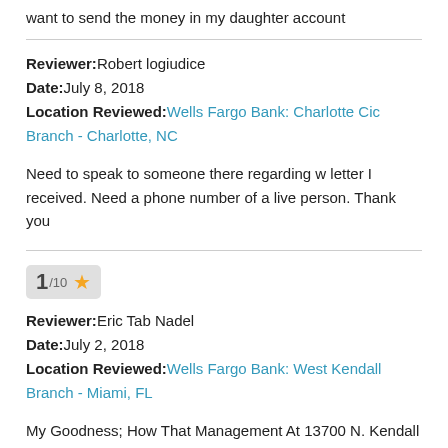want to send the money in my daughter account
Reviewer: Robert logiudice
Date: July 8, 2018
Location Reviewed: Wells Fargo Bank: Charlotte Cic Branch - Charlotte, NC
Need to speak to someone there regarding w letter I received. Need a phone number of a live person. Thank you
1/10 ★
Reviewer: Eric Tab Nadel
Date: July 2, 2018
Location Reviewed: Wells Fargo Bank: West Kendall Branch - Miami, FL
My Goodness; How That Management At 13700 N. Kendall Dr. Miami, FL 33186 Treats Myself, Eric Tab Nadel, Like Defication & Does Not Allow Myself In Her Bank. CORE JEALOUSY & ANGER!!!